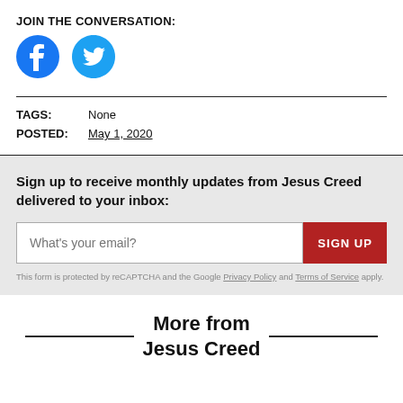JOIN THE CONVERSATION:
[Figure (illustration): Facebook and Twitter social media icons (blue circle with white F, blue Twitter bird)]
TAGS: None
POSTED: May 1, 2020
Sign up to receive monthly updates from Jesus Creed delivered to your inbox:
What's your email? [SIGN UP button]
This form is protected by reCAPTCHA and the Google Privacy Policy and Terms of Service apply.
More from Jesus Creed